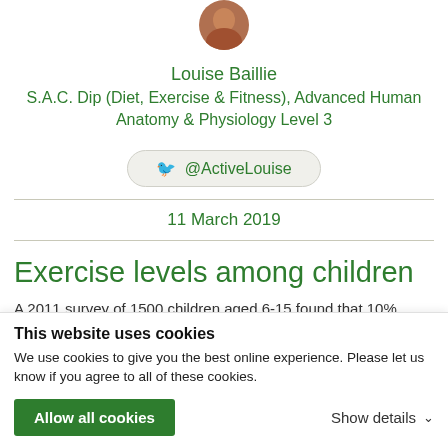Louise Baillie
S.A.C. Dip (Diet, Exercise & Fitness), Advanced Human Anatomy & Physiology Level 3
@ActiveLouise
11 March 2019
Exercise levels among children
A 2011 survey of 1500 children aged 6-15 found that 10% could not ride a bike and 15% could not swim. Plus, whilst
This website uses cookies
We use cookies to give you the best online experience. Please let us know if you agree to all of these cookies.
Allow all cookies
Show details